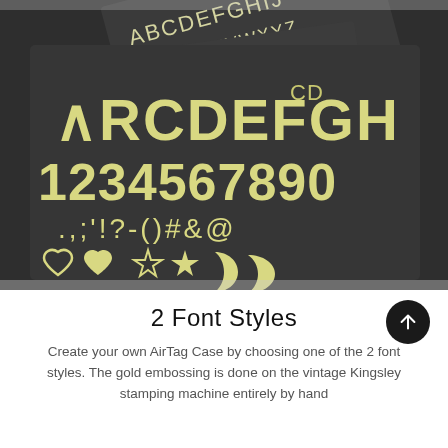[Figure (photo): Dark charcoal/black cards fanned out showing gold embossed font character sets: uppercase letters ABCDEFGHIJ... STUVWXYZ, ARCDEFGH, numbers 1234567890, punctuation .,;'!?-()#&@, and symbols including hearts, stars, and crescent moons in light yellow-cream color on dark background.]
2 Font Styles
Create your own AirTag Case by choosing one of the 2 font styles. The gold embossing is done on the vintage Kingsley stamping machine entirely by hand